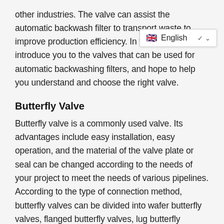other industries. The valve can assist the automatic backwash filter to transport waste to improve production efficiency. In this article, we will introduce you to the valves that can be used for automatic backwashing filters, and hope to help you understand and choose the right valve.
Butterfly Valve
Butterfly valve is a commonly used valve. Its advantages include easy installation, easy operation, and the material of the valve plate or seal can be changed according to the needs of your project to meet the needs of various pipelines. According to the type of connection method, butterfly valves can be divided into wafer butterfly valves, flanged butterfly valves, lug butterfly valves, etc., making your installation easier. According to the differences of manufacturing flaw...